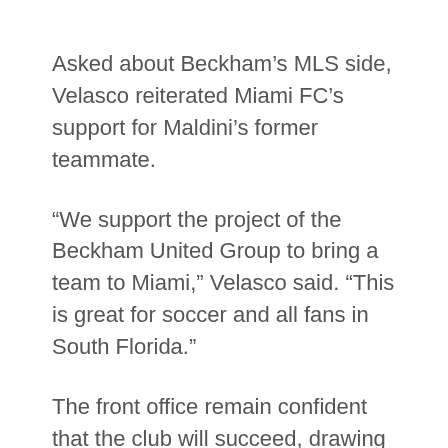Asked about Beckham’s MLS side, Velasco reiterated Miami FC’s support for Maldini’s former teammate.
“We support the project of the Beckham United Group to bring a team to Miami,” Velasco said. “This is great for soccer and all fans in South Florida.”
The front office remain confident that the club will succeed, drawing fans in Miami and across South Florida by building a championship-winning team. They plan to go full-strength into the NASL season as well as the U.S. Open Cup, the country’s domestic cup competition that spans all